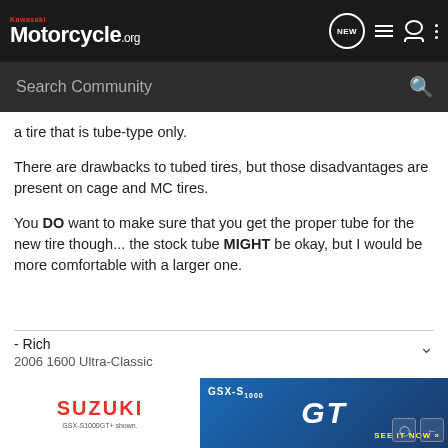Kawasaki Motorcycle.org — Search Community
a tire that is tube-type only.
There are drawbacks to tubed tires, but those disadvantages are present on cage and MC tires.
You DO want to make sure that you get the proper tube for the new tire though... the stock tube MIGHT be okay, but I would be more comfortable with a larger one.
- Rich
2006 1600 Ultra-Classic
[Figure (screenshot): Suzuki GSX-S1000 GT advertisement banner at the bottom of the page]